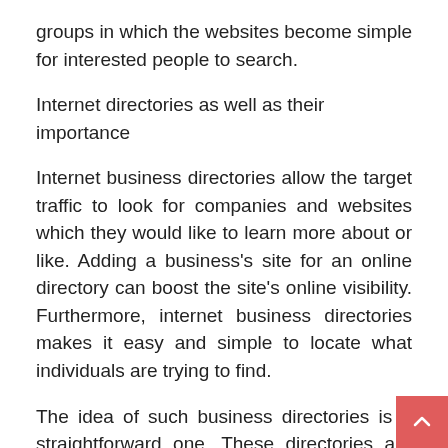groups in which the websites become simple for interested people to search.
Internet directories as well as their importance
Internet business directories allow the target traffic to look for companies and websites which they would like to learn more about or like. Adding a business's site for an online directory can boost the site's online visibility. Furthermore, internet business directories makes it easy and simple to locate what individuals are trying to find.
The idea of such business directories is a straightforward one. These directories are very like the Phone Book. Internet business directories are simply listing places for business websites.